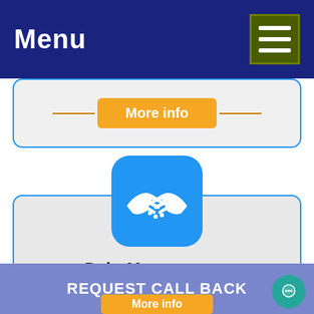Menu
More info
[Figure (illustration): Blue rounded square icon with white handshake symbol representing debt management]
Debt Management
Unites all obligations into one reasonable month to month reimbursement, making it simpler for you to deal with
REQUEST CALL BACK
More info